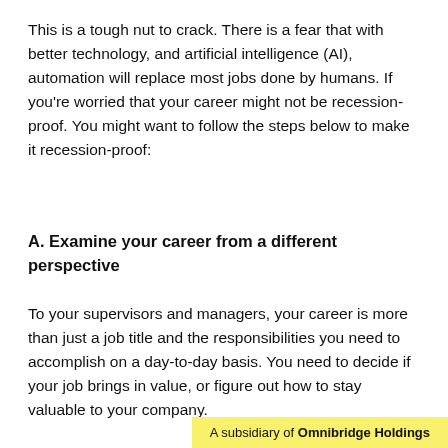This is a tough nut to crack. There is a fear that with better technology, and artificial intelligence (AI), automation will replace most jobs done by humans. If you're worried that your career might not be recession-proof. You might want to follow the steps below to make it recession-proof:
A. Examine your career from a different perspective
To your supervisors and managers, your career is more than just a job title and the responsibilities you need to accomplish on a day-to-day basis. You need to decide if your job brings in value, or figure out how to stay valuable to your company.
A subsidiary of Omnibridge Holdings